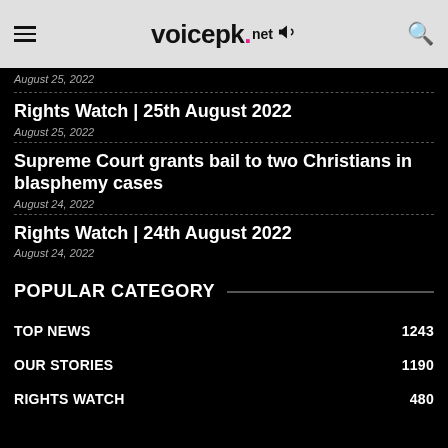voicepk.net
August 25, 2022
Rights Watch | 25th August 2022
August 25, 2022
Supreme Court grants bail to two Christians in blasphemy cases
August 24, 2022
Rights Watch | 24th August 2022
August 24, 2022
POPULAR CATEGORY
TOP NEWS  1243
OUR STORIES  1190
RIGHTS WATCH  480